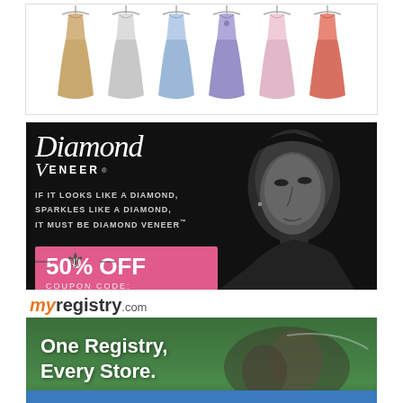[Figure (illustration): Advertisement showing six bridesmaid dresses on mannequins in various colors: champagne/beige, white/silver, light blue, periwinkle/lavender, pale pink, and coral/salmon pink.]
[Figure (illustration): Diamond Veneer advertisement on black background featuring a glamorous woman's face in black and white. Left side shows brand name 'Diamond Veneer' in script with tagline 'IF IT LOOKS LIKE A DIAMOND. SPARKLES LIKE A DIAMOND. IT MUST BE DIAMOND VENEER™', decorative ornament, a pink 50% OFF coupon box with coupon code WEDDINGFOR1000.]
myregistry.com
[Figure (photo): myregistry.com advertisement showing a couple lying on grass smiling at each other with text 'One Registry, Every Store.' overlaid in white, and a blue bar at the bottom.]